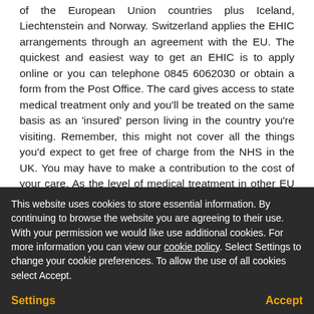of the European Union countries plus Iceland, Liechtenstein and Norway. Switzerland applies the EHIC arrangements through an agreement with the EU. The quickest and easiest way to get an EHIC is to apply online or you can telephone 0845 6062030 or obtain a form from the Post Office. The card gives access to state medical treatment only and you'll be treated on the same basis as an 'insured' person living in the country you're visiting. Remember, this might not cover all the things you'd expect to get free of charge from the NHS in the UK. You may have to make a contribution to the cost of your care. As the level of medical treatment in other EU countries may not be as great as that of the UK and not available without full payment elsewhere, we do insist that all our clients have adequate travel insurance cover.
PASSPORTS AND VISAS
A valid 10 year passport is a legal requirement for each ... British Citizen, travelling to or through an EU or non EU country, you will need a full British passport. Although there is now no passport control for persons travelling between EU countries, a passport...
This website uses cookies to store essential information. By continuing to browse the website you are agreeing to their use. With your permission we would like use additional cookies. For more information you can view our cookie policy. Select Settings to change your cookie preferences. To allow the use of all cookies select Accept.